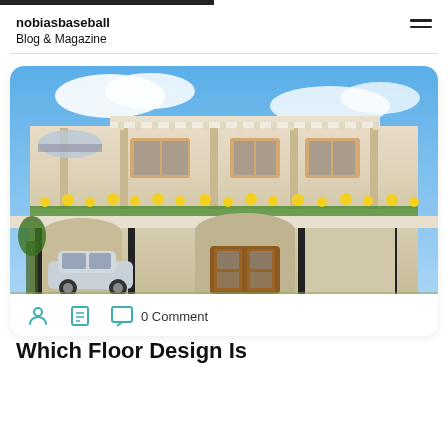nobiasbaseball
Blog & Magazine
[Figure (photo): Two-storey residential house with sunflowers on the balcony railing, arched entrance with wooden doors, BMW car parked in the driveway, white pergola on the upper floor, blue sky with clouds.]
0 Comment
Which Floor Design Is